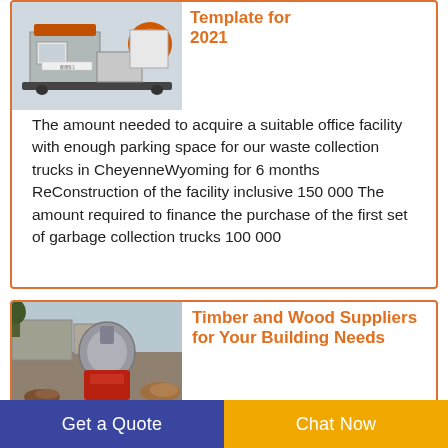[Figure (photo): Industrial waste/wood processing machinery with orange and grey components, control panel visible]
Template for 2021
The amount needed to acquire a suitable office facility with enough parking space for our waste collection trucks in CheyenneWyoming for 6 months ReConstruction of the facility inclusive 150 000 The amount required to finance the purchase of the first set of garbage collection trucks 100 000
[Figure (photo): Industrial wood chipper or shredder machine (red and grey) at an outdoor facility]
Timber and Wood Suppliers for Your Building Needs
Get a Quote
Chat Now